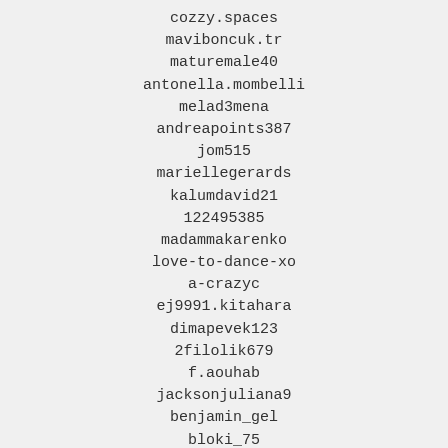cozzy.spaces
maviboncuk.tr
maturemale40
antonella.mombelli
melad3mena
andreapoints387
jom515
mariellegerards
kalumdavid21
122495385
madammakarenko
love-to-dance-xo
a-crazyc
ej9991.kitahara
dimapevek123
2filolik679
f.aouhab
jacksonjuliana9
benjamin_gel
bloki_75
falwen
avv.mitoli
irade.huseynova1971
bulentavcisivas